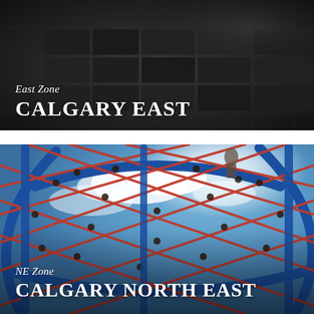[Figure (photo): Aerial/dark overhead view of a city grid pattern, dark tones, representing Calgary East zone]
East Zone
CALGARY EAST
[Figure (photo): Close-up upward view of a colourful rope climbing structure (red ropes, blue metal frames) against a blue sky with clouds, with a person visible at top, representing Calgary North East zone]
NE Zone
CALGARY NORTH EAST